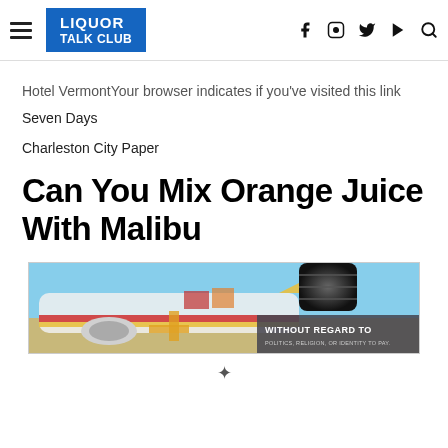LIQUOR TALK CLUB
Hotel VermontYour browser indicates if you've visited this link
Seven Days
Charleston City Paper
Can You Mix Orange Juice With Malibu
[Figure (photo): Advertisement banner showing an airplane on tarmac being loaded, with a dark cylindrical object above and a gray overlay text bar reading WITHOUT REGARD TO on the right side]